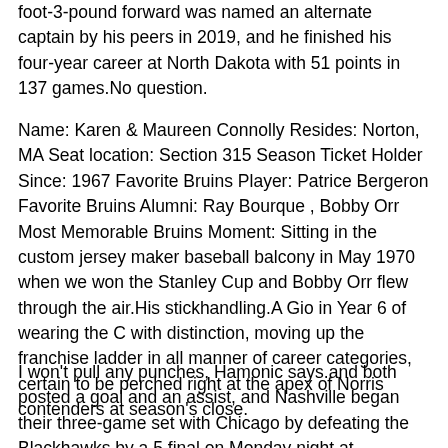foot-3-pound forward was named an alternate captain by his peers in 2019, and he finished his four-year career at North Dakota with 51 points in 137 games.No question.
Name: Karen & Maureen Connolly Resides: Norton, MA Seat location: Section 315 Season Ticket Holder Since: 1967 Favorite Bruins Player: Patrice Bergeron Favorite Bruins Alumni: Ray Bourque , Bobby Orr Most Memorable Bruins Moment: Sitting in the custom jersey maker baseball balcony in May 1970 when we won the Stanley Cup and Bobby Orr flew through the air.His stickhandling.A Gio in Year 6 of wearing the C with distinction, moving up the franchise ladder in all manner of career categories, certain to be perched right at the apex of Norris contenders at season's close.
I won't pull any punches, Hamonic says.and both posted a goal and an assist, and Nashville began their three-game set with Chicago by defeating the Blackhawks by a 5 final on Monday night at Bridgestone Arena 10- 2 1 victory on